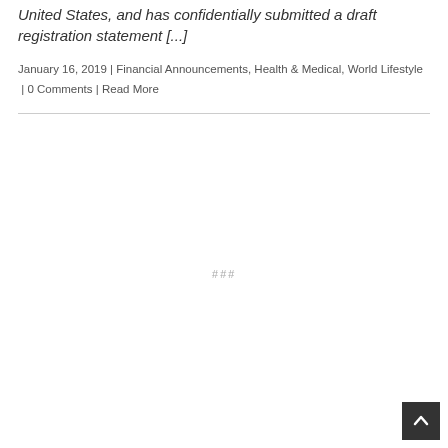United States, and has confidentially submitted a draft registration statement [...]
January 16, 2019 | Financial Announcements, Health & Medical, World Lifestyle | 0 Comments | Read More
###